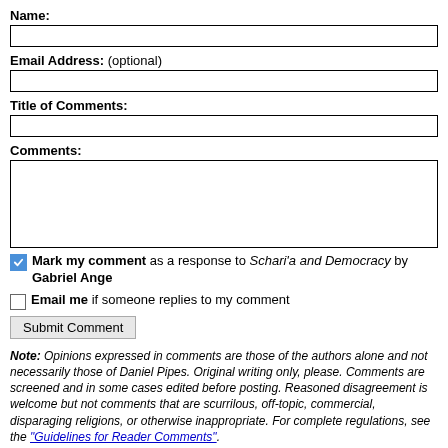Name:
Email Address: (optional)
Title of Comments:
Comments:
Mark my comment as a response to Schari'a and Democracy by Gabriel Ange
Email me if someone replies to my comment
Submit Comment
Note: Opinions expressed in comments are those of the authors alone and not necessarily those of Daniel Pipes. Original writing only, please. Comments are screened and in some cases edited before posting. Reasoned disagreement is welcome but not comments that are scurrilous, off-topic, commercial, disparaging religions, or otherwise inappropriate. For complete regulations, see the "Guidelines for Reader Comments".